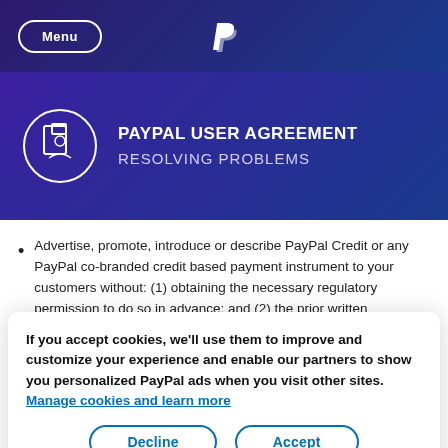Menu | PayPal logo
PAYPAL USER AGREEMENT
RESOLVING PROBLEMS
Advertise, promote, introduce or describe PayPal Credit or any PayPal co-branded credit based payment instrument to your customers without: (1) obtaining the necessary regulatory permission to do so in advance; and (2) the prior written permission of PayPal and (if not...
If you accept cookies, we'll use them to improve and customize your experience and enable our partners to show you personalized PayPal ads when you visit other sites. Manage cookies and learn more
You agree that engaging in the above restricted activities